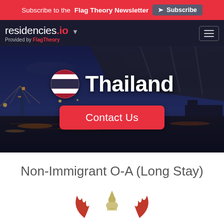Subscribe to the Flag Theory Newsletter  Subscribe
[Figure (screenshot): residencies.io navigation bar with logo and hamburger menu]
[Figure (photo): Night cityscape of Bangkok Thailand with bridge and river reflections, Thailand flag icon and 'Thailand' title text, Contact Us button]
Non-Immigrant O-A (Long Stay)
[Figure (illustration): Thai emblem decorative illustration with flame motifs, partially visible at bottom]